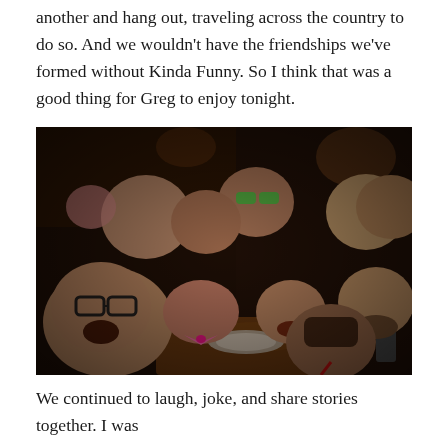another and hang out, traveling across the country to do so. And we wouldn't have the friendships we've formed without Kinda Funny. So I think that was a good thing for Greg to enjoy tonight.
[Figure (photo): Group photo of approximately 10-11 people sitting together at a restaurant table, smiling and laughing. One person in the foreground is wearing glasses and making a funny face; another wears a pink bow tie. The setting appears to be a casual restaurant with dim lighting.]
We continued to laugh, joke, and share stories together. I was